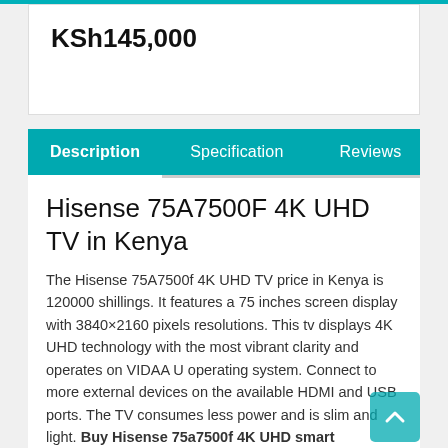KSh145,000
Description   Specification   Reviews
Hisense 75A7500F 4K UHD TV in Kenya
The Hisense 75A7500f 4K UHD TV price in Kenya is 120000 shillings. It features a 75 inches screen display with 3840×2160 pixels resolutions. This tv displays 4K UHD technology with the most vibrant clarity and operates on VIDAA U operating system. Connect to more external devices on the available HDMI and USB ports. The TV consumes less power and is slim and light. Buy Hisense 75a7500f 4K UHD smart frameless tv online at best price today at Hisense Kenya